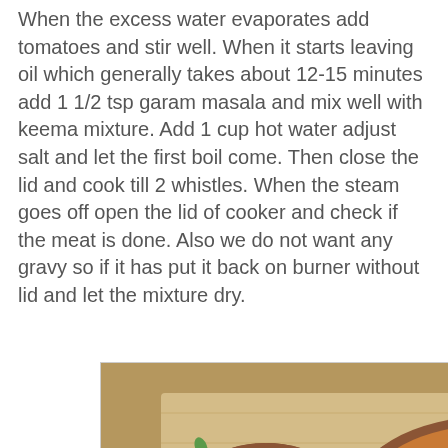When the excess water evaporates add tomatoes and stir well. When it starts leaving oil which generally takes about 12-15 minutes add 1 1/2 tsp garam masala and mix well with keema mixture. Add 1 cup hot water adjust salt and let the first boil come. Then close the lid and cook till 2 whistles. When the steam goes off open the lid of cooker and check if the meat is done. Also we do not want any gravy so if it has put it back on burner without lid and let the mixture dry.
[Figure (photo): Food photography showing two images: top image features a wooden bowl filled with spiced keema mixture garnished with green chili and onion slices on a platter; bottom image shows a folded dosa or flatbread on a banana leaf with keema filling and a spoon scooping the filling.]